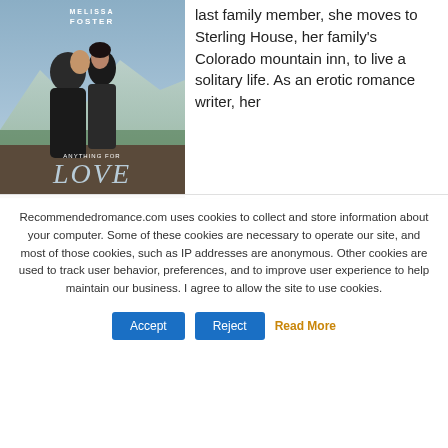[Figure (illustration): Book cover for 'Anything for Love' by Melissa Foster showing a couple in close embrace with mountains in background, styled romance novel cover]
last family member, she moves to Sterling House, her family's Colorado mountain inn, to live a solitary life. As an erotic romance writer, her
Recommendedromance.com uses cookies to collect and store information about your computer. Some of these cookies are necessary to operate our site, and most of those cookies, such as IP addresses are anonymous. Other cookies are used to track user behavior, preferences, and to improve user experience to help maintain our business. I agree to allow the site to use cookies.